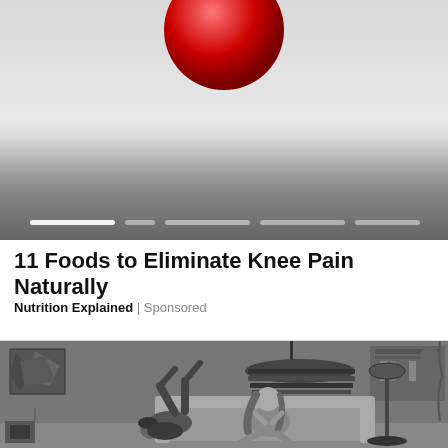[Figure (photo): Top portion of an article card showing a red spherical object (cherry or tomato) on a gradient gray/white background with slideshow navigation dots at the bottom]
11 Foods to Eliminate Knee Pain Naturally
Nutrition Explained | Sponsored
[Figure (illustration): Black and white illustration of two figures lounging on a couch/floor in a living room scene with a striped pendant lamp, shelving, and abstract artwork on the wall]